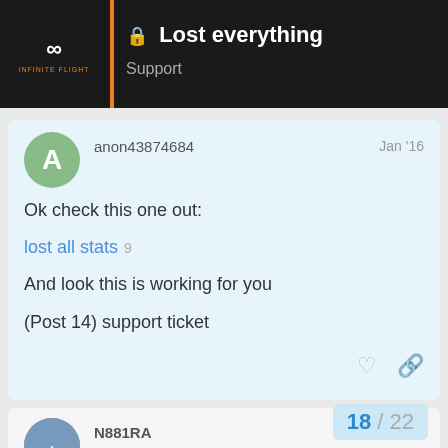Lost everything | Support
anon43874684  Jan '16
Ok check this one out:
lost all stats  9
And look this is working for you
(Post 14) support ticket
N881RA  Jan '16
That was my old one this new one is a complete glitch out or something
18 / 22